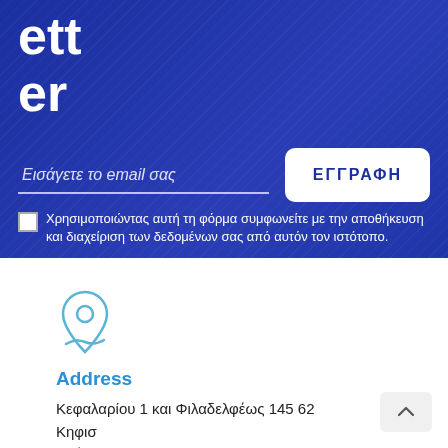ett er
Εισάγετε το email σας
ΕΓΓΡΑΦΗ
Χρησιμοποιώντας αυτή τη φόρμα συμφωνείτε με την αποθήκευση και διαχείριση των δεδομένων σας από αυτόν τον ιστότοπο.
[Figure (illustration): Location pin icon in light blue outline style]
Address
Κεφαλαρίου 1 και Φιλαδελφέως 145 62 Κηφισ
Αθήνα